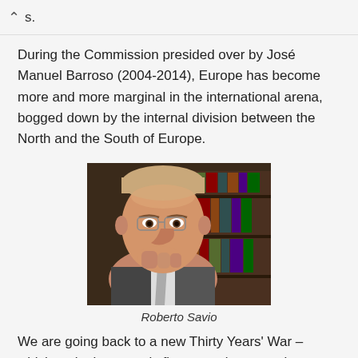s.
During the Commission presided over by José Manuel Barroso (2004-2014), Europe has become more and more marginal in the international arena, bogged down by the internal division between the North and the South of Europe.
[Figure (photo): Portrait photo of Roberto Savio, an older man in a suit, resting his chin on his hand]
Roberto Savio
We are going back to a new Thirty Years' War – which took place nearly five centuries ago – between Catholics and Protestants. Catholics are considered profligate